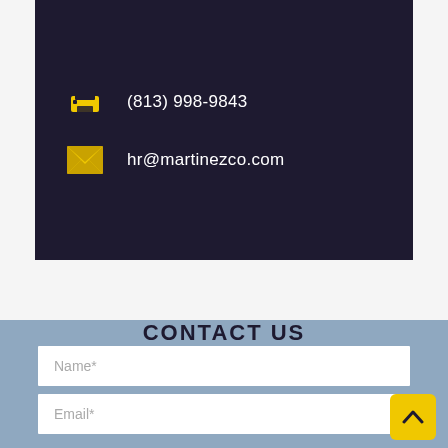(813) 998-9843
hr@martinezco.com
CONTACT US
Name*
Email*